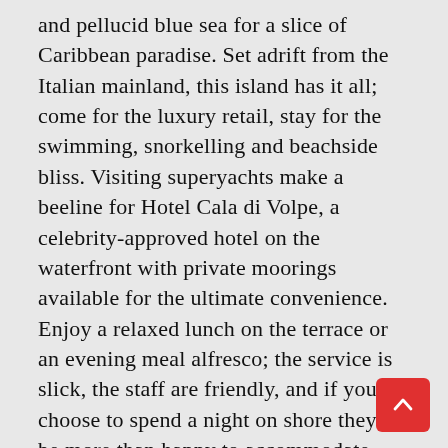and pellucid blue sea for a slice of Caribbean paradise. Set adrift from the Italian mainland, this island has it all; come for the luxury retail, stay for the swimming, snorkelling and beachside bliss. Visiting superyachts make a beeline for Hotel Cala di Volpe, a celebrity-approved hotel on the waterfront with private moorings available for the ultimate convenience. Enjoy a relaxed lunch on the terrace or an evening meal alfresco; the service is slick, the staff are friendly, and if you choose to spend a night on shore they'll be more than happy to accommodate you. Down the eastern coast of the island is where you'll find most of the island's famed beaches. Consistently voted among the best in Europe, they're all simple and straightforward to access from your yacht, and promise a relaxing day of swimming and soaking up the sunshine. Among the best is Cala Goloritze.